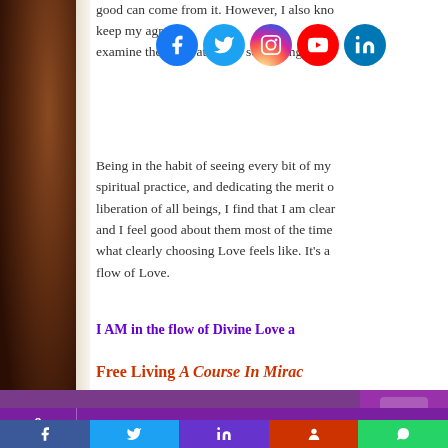[Figure (screenshot): Social media share icons: Facebook, Twitter, Instagram, YouTube, LinkedIn]
good can come from it. However, I also kno keep my agree... to examine the motivation for something.
Being in the habit of seeing every bit of my spiritual practice, and dedicating the merit of liberation of all beings, I find that I am clear and I feel good about them most of the time. what clearly choosing Love feels like. It's a flow of Love.
I AM in the flow of Divine Love a
Free Living A Course In Miracl
We're off to a wonderful start with
Need help? LIVE chat with us!
0
SHARES